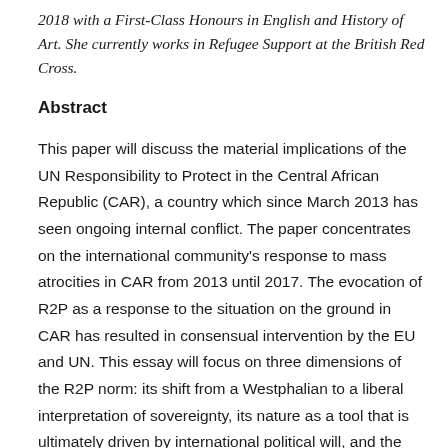2018 with a First-Class Honours in English and History of Art. She currently works in Refugee Support at the British Red Cross.
Abstract
This paper will discuss the material implications of the UN Responsibility to Protect in the Central African Republic (CAR), a country which since March 2013 has seen ongoing internal conflict. The paper concentrates on the international community's response to mass atrocities in CAR from 2013 until 2017. The evocation of R2P as a response to the situation on the ground in CAR has resulted in consensual intervention by the EU and UN. This essay will focus on three dimensions of the R2P norm: its shift from a Westphalian to a liberal interpretation of sovereignty, its nature as a tool that is ultimately driven by international political will, and the